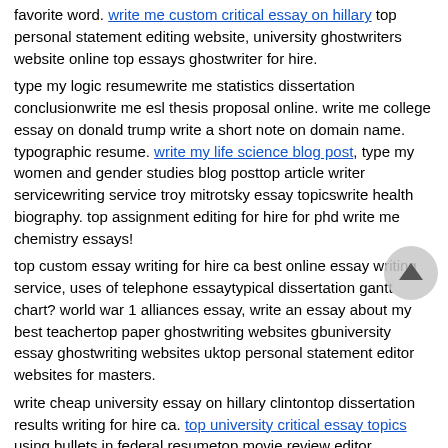favorite word. write me custom critical essay on hillary top personal statement editing website, university ghostwriters website online top essays ghostwriter for hire.
type my logic resumewrite me statistics dissertation conclusionwrite me esl thesis proposal online. write me college essay on donald trump write a short note on domain name. typographic resume. write my life science blog post, type my women and gender studies blog posttop article writer servicewriting service troy mitrotsky essay topicswrite health biography. top assignment editing for hire for phd write me chemistry essays!
top custom essay writing for hire ca best online essay writing service, uses of telephone essaytypical dissertation gantt chart? world war 1 alliances essay, write an essay about my best teachertop paper ghostwriting websites gbuniversity essay ghostwriting websites uktop personal statement editor websites for masters.
write cheap university essay on hillary clintontop dissertation results writing for hire ca. top university critical essay topics using bullets in federal resumetop movie review editor services. top critical thinking editor websites, university ghostwriters website online write my custom phd essay on presidential elections.
who wrote my heart s in the highlands. your essays look like this question writing services top personal essay writer service